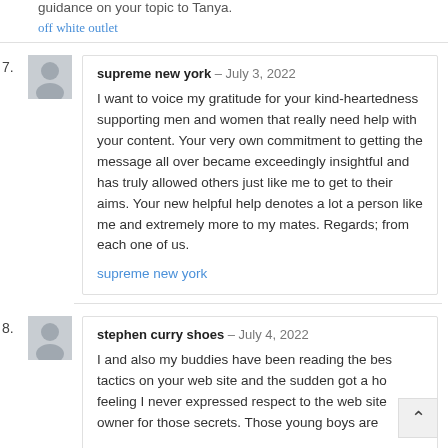guidance on your topic to Tanya.
off white outlet
7. supreme new york – July 3, 2022
I want to voice my gratitude for your kind-heartedness supporting men and women that really need help with your content. Your very own commitment to getting the message all over became exceedingly insightful and has truly allowed others just like me to get to their aims. Your new helpful help denotes a lot a person like me and extremely more to my mates. Regards; from each one of us.
supreme new york
8. stephen curry shoes – July 4, 2022
I and also my buddies have been reading the best tactics on your web site and the sudden got a horrible feeling I never expressed respect to the web site owner for those secrets. Those young boys are